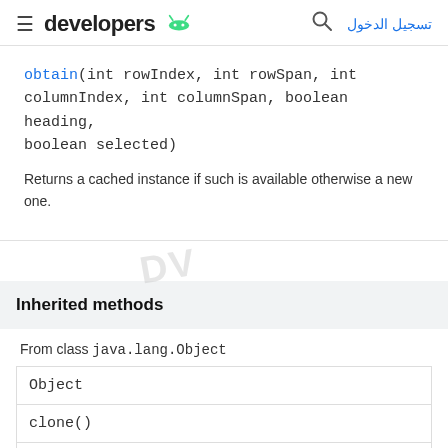≡ developers 🤖  🔍 تسجيل الدخول
obtain(int rowIndex, int rowSpan, int columnIndex, int columnSpan, boolean heading, boolean selected)
Returns a cached instance if such is available otherwise a new one.
Inherited methods
From class java.lang.Object
| Object |
| clone() |
| boolean |